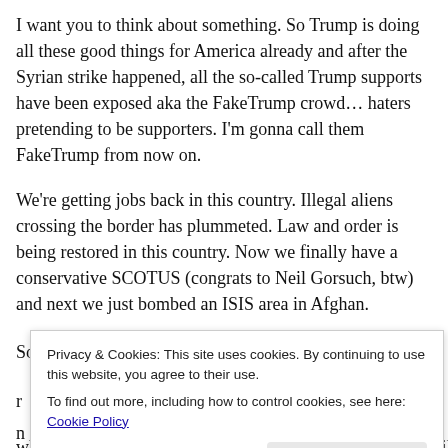I want you to think about something. So Trump is doing all these good things for America already and after the Syrian strike happened, all the so-called Trump supports have been exposed aka the FakeTrump crowd... haters pretending to be supporters. I'm gonna call them FakeTrump from now on.
We're getting jobs back in this country. Illegal aliens crossing the border has plummeted. Law and order is being restored in this country. Now we finally have a conservative SCOTUS (congrats to Neil Gorsuch, btw) and next we just bombed an ISIS area in Afghan.
So if many are jumping off the Trump Train being FakeTrump... then President Trump, you think about this...
Privacy & Cookies: This site uses cookies. By continuing to use this website, you agree to their use.
To find out more, including how to control cookies, see here: Cookie Policy
Close and accept
which is about time. Do they regret opposing the Syrian strike